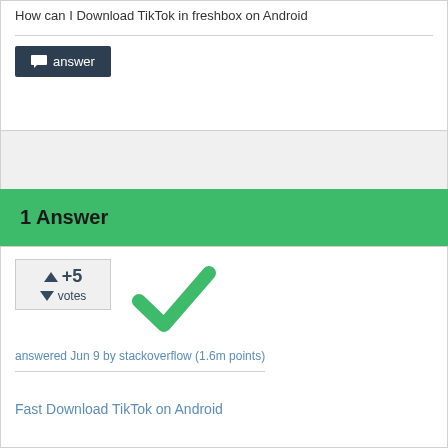How can I Download TikTok in freshbox on Android
[Figure (other): Answer button with chat bubble icon on dark navy background]
1 Answer
[Figure (other): Vote widget showing +5 votes with up/down triangles, and a green checkmark indicating accepted answer]
answered Jun 9 by stackoverflow (1.6m points)
Fast Download TikTok on Android